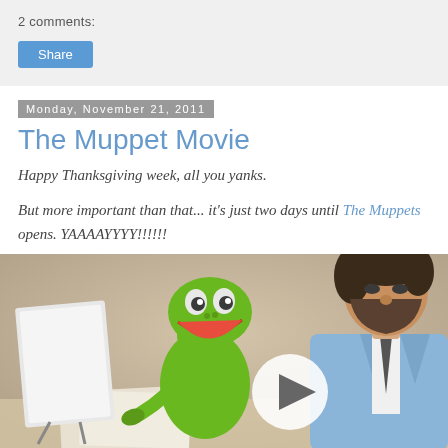2 comments:
Share
Monday, November 21, 2011
The Muppet Movie
Happy Thanksgiving week, all you yanks.
But more important than that... it's just two days until The Muppets opens. YAAAAYYYY!!!!!!
[Figure (photo): Video thumbnail showing Kermit the Frog puppet and a bearded man in a blue suit at a desk, with a white circular play button overlay in the center-right of the image.]